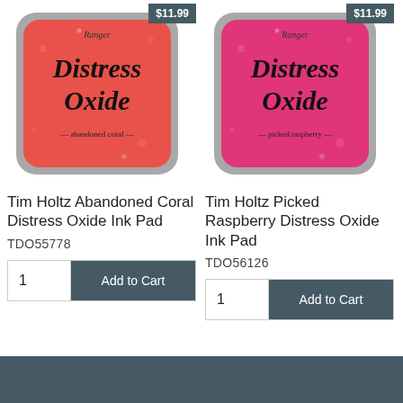[Figure (photo): Tim Holtz Abandoned Coral Distress Oxide Ink Pad product image with $11.99 price badge]
Tim Holtz Abandoned Coral Distress Oxide Ink Pad
TDO55778
[Figure (photo): Tim Holtz Picked Raspberry Distress Oxide Ink Pad product image with $11.99 price badge]
Tim Holtz Picked Raspberry Distress Oxide Ink Pad
TDO56126